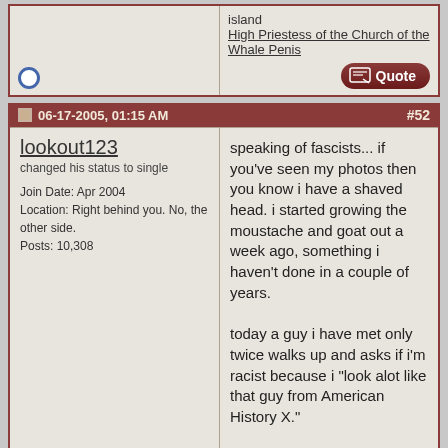island
High Priestess of the Church of the Whale Penis
06-17-2005, 01:15 AM   #52
lookout123
changed his status to single

Join Date: Apr 2004
Location: Right behind you. No, the other side.
Posts: 10,308
speaking of fascists... if you've seen my photos then you know i have a shaved head. i started growing the moustache and goat out a week ago, something i haven't done in a couple of years.

today a guy i have met only twice walks up and asks if i'm racist because i "look alot like that guy from American History X."

you should have seen his face when i replied "yes, as a matter of fact i am. after i'm done having a beer with my good friend _____ (happens to be mexican) I am going to take him outside, spread his mouth on a curb and kick in his skull. If you want to watch you can help me carry his carcass to the nearest oven.